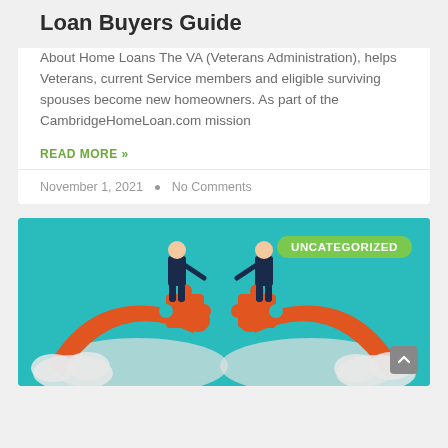Loan Buyers Guide
About Home Loans The VA (Veterans Administration), helps Veterans, current Service members and eligible surviving spouses become new homeowners. As part of the CambridgeHomeLoan.com mission
READ MORE »
November 1, 2021  •  No Comments
[Figure (illustration): Illustration of two businessmen in suits connecting large orange puzzle pieces together, standing atop an arch-shaped bridge made of puzzle pieces, against a teal background. A green 'UNCATEGORIZED' badge appears in the top right corner.]